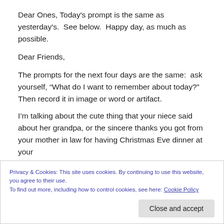Dear Ones, Today's prompt is the same as yesterday's.  See below.  Happy day, as much as possible.
Dear Friends,
The prompts for the next four days are the same:  ask yourself, “What do I want to remember about today?”  Then record it in image or word or artifact.
I’m talking about the cute thing that your niece said about her grandpa, or the sincere thanks you got from your mother in law for having Christmas Eve dinner at your
Privacy & Cookies: This site uses cookies. By continuing to use this website, you agree to their use.
To find out more, including how to control cookies, see here: Cookie Policy
Close and accept